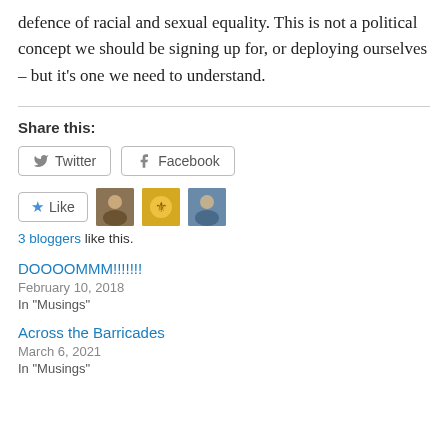defence of racial and sexual equality. This is not a political concept we should be signing up for, or deploying ourselves – but it's one we need to understand.
Share this:
Twitter  Facebook
Like  [3 blogger avatars]  3 bloggers like this.
DOOOOMMM!!!!!!!
February 10, 2018
In "Musings"
Across the Barricades
March 6, 2021
In "Musings"